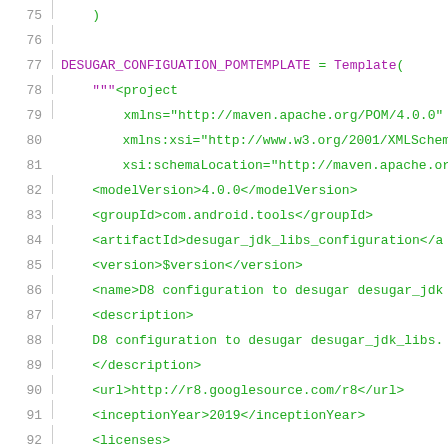Code snippet showing DESUGAR_CONFIGUATION_POMTEMPLATE assignment and XML template content, lines 75-96